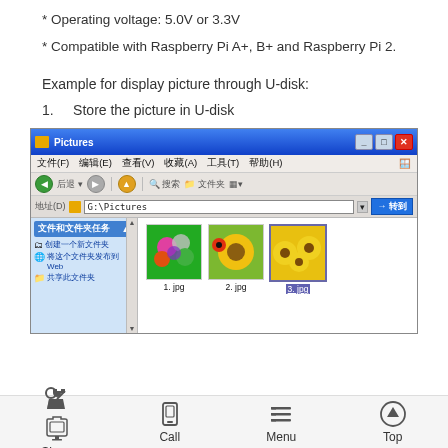* Operating voltage: 5.0V or 3.3V
* Compatible with Raspberry Pi A+, B+ and Raspberry Pi 2.
Example for display picture through U-disk:
1.    Store the picture in U-disk
[Figure (screenshot): Windows XP Explorer window showing 'Pictures' folder on G: drive with three image files: 1.jpg, 2.jpg, 3.jpg displayed as thumbnails. Left panel shows file tasks including create new folder, publish folder to web, and share folder options.]
Share   Call   Menu   Top